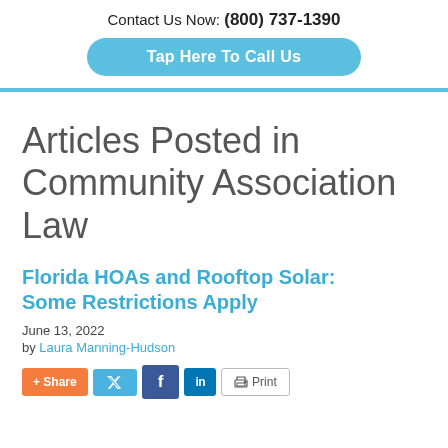Contact Us Now: (800) 737-1390
Tap Here To Call Us
Articles Posted in Community Association Law
Florida HOAs and Rooftop Solar: Some Restrictions Apply
June 13, 2022
by Laura Manning-Hudson
[Figure (other): Social share buttons row: + Share (orange), Twitter (blue), Facebook (dark blue), LinkedIn (blue), Print (outlined)]